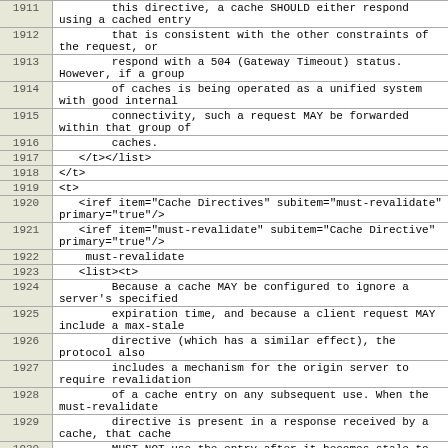| Line | Code |
| --- | --- |
| 1911 |         this directive, a cache SHOULD either respond using a cached entry |
| 1912 |         that is consistent with the other constraints of the request, or |
| 1913 |         respond with a 504 (Gateway Timeout) status. However, if a group |
| 1914 |         of caches is being operated as a unified system with good internal |
| 1915 |         connectivity, such a request MAY be forwarded within that group of |
| 1916 |         caches. |
| 1917 |    </t></list> |
| 1918 | </t> |
| 1919 | <t> |
| 1920 |    <iref item="Cache Directives" subitem="must-revalidate" primary="true"/> |
| 1921 |    <iref item="must-revalidate" subitem="Cache Directive" primary="true"/> |
| 1922 |     must-revalidate |
| 1923 |    <list><t> |
| 1924 |         Because a cache MAY be configured to ignore a server's specified |
| 1925 |         expiration time, and because a client request MAY include a max-stale |
| 1926 |         directive (which has a similar effect), the protocol also |
| 1927 |         includes a mechanism for the origin server to require revalidation |
| 1928 |         of a cache entry on any subsequent use. When the must-revalidate |
| 1929 |         directive is present in a response received by a cache, that cache |
| 1930 |         MUST NOT use the entry after it becomes stale to respond to a |